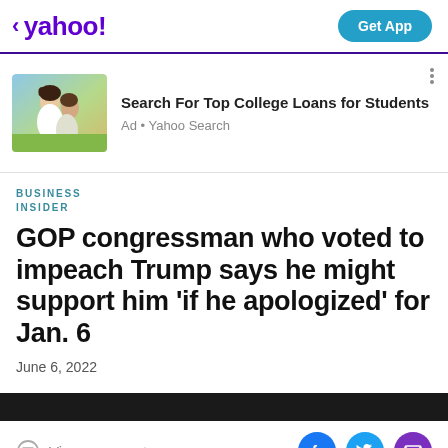< yahoo!   Get App
[Figure (photo): Advertisement banner with photo of two young women laughing outdoors, text: Search For Top College Loans for Students, Ad • Yahoo Search]
BUSINESS INSIDER
GOP congressman who voted to impeach Trump says he might support him 'if he apologized' for Jan. 6
June 6, 2022
View comments